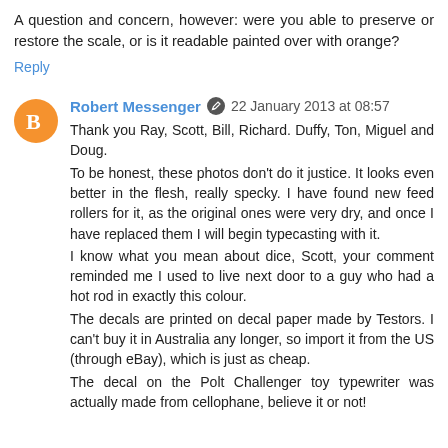A question and concern, however: were you able to preserve or restore the scale, or is it readable painted over with orange?
Reply
Robert Messenger  22 January 2013 at 08:57
Thank you Ray, Scott, Bill, Richard. Duffy, Ton, Miguel and Doug.
To be honest, these photos don't do it justice. It looks even better in the flesh, really specky. I have found new feed rollers for it, as the original ones were very dry, and once I have replaced them I will begin typecasting with it.
I know what you mean about dice, Scott, your comment reminded me I used to live next door to a guy who had a hot rod in exactly this colour.
The decals are printed on decal paper made by Testors. I can't buy it in Australia any longer, so import it from the US (through eBay), which is just as cheap.
The decal on the Polt Challenger toy typewriter was actually made from cellophane, believe it or not!